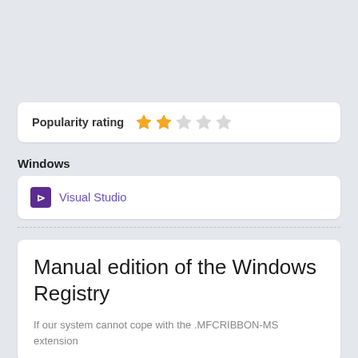[Figure (infographic): Popularity rating row with 2 filled gold stars and 3 empty grey stars out of 5]
Windows
[Figure (infographic): Visual Studio link item with purple VS icon and purple text link]
Manual edition of the Windows Registry
If our system cannot cope with the .MFCRIBBON-MS extension